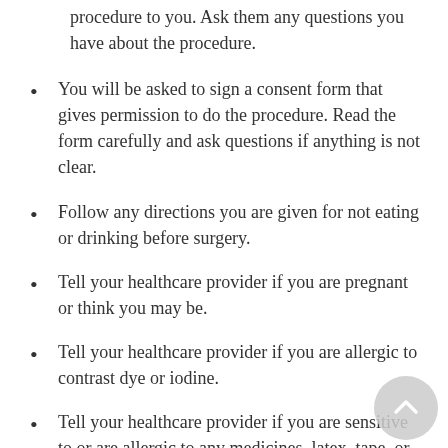procedure to you. Ask them any questions you have about the procedure.
You will be asked to sign a consent form that gives permission to do the procedure. Read the form carefully and ask questions if anything is not clear.
Follow any directions you are given for not eating or drinking before surgery.
Tell your healthcare provider if you are pregnant or think you may be.
Tell your healthcare provider if you are allergic to contrast dye or iodine.
Tell your healthcare provider if you are sensitive to or are allergic to any medicines, latex, tape, or anesthetic medicines (local and general).